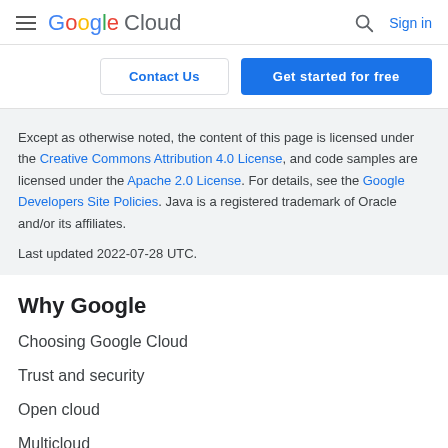Google Cloud — Sign in
Contact Us | Get started for free
Except as otherwise noted, the content of this page is licensed under the Creative Commons Attribution 4.0 License, and code samples are licensed under the Apache 2.0 License. For details, see the Google Developers Site Policies. Java is a registered trademark of Oracle and/or its affiliates.

Last updated 2022-07-28 UTC.
Why Google
Choosing Google Cloud
Trust and security
Open cloud
Multicloud